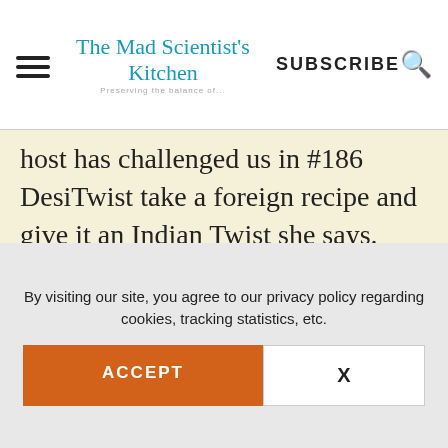The Mad Scientist's Kitchen | SUBSCRIBE
host has challenged us in #186 DesiTwist take a foreign recipe and give it an Indian Twist she says. Now the reverse is easier but what is life without a challenge.
[Figure (logo): Foodie Monday Bloghop circular pink badge logo with cupcake icon]
By visiting our site, you agree to our privacy policy regarding cookies, tracking statistics, etc.
ACCEPT
X